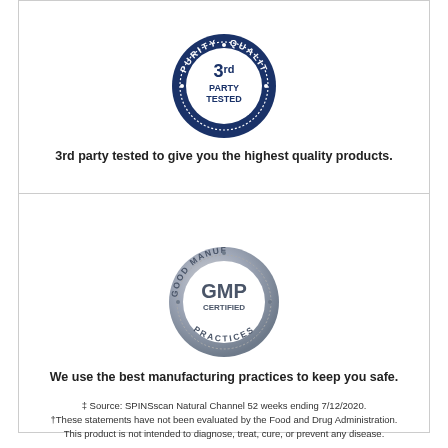[Figure (logo): 3rd Party Tested circular badge in dark navy blue with text: PURITY, QUALITY, POTENCY around the ring, and '3rd PARTY TESTED' in the center]
3rd party tested to give you the highest quality products.
[Figure (logo): GMP CERTIFIED circular badge in silver/grey with 'GOOD MANUFACTURING PRACTICES' around the ring and 'GMP CERTIFIED' in the center]
We use the best manufacturing practices to keep you safe.
‡ Source: SPINSscan Natural Channel 52 weeks ending 7/12/2020. †These statements have not been evaluated by the Food and Drug Administration. This product is not intended to diagnose, treat, cure, or prevent any disease.